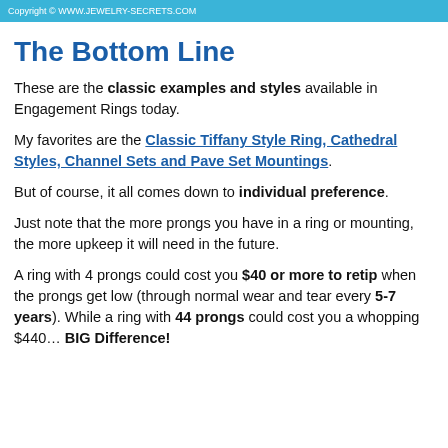Copyright © WWW.JEWELRY-SECRETS.COM
The Bottom Line
These are the classic examples and styles available in Engagement Rings today.
My favorites are the Classic Tiffany Style Ring, Cathedral Styles, Channel Sets and Pave Set Mountings.
But of course, it all comes down to individual preference.
Just note that the more prongs you have in a ring or mounting, the more upkeep it will need in the future.
A ring with 4 prongs could cost you $40 or more to retip when the prongs get low (through normal wear and tear every 5-7 years). While a ring with 44 prongs could cost you a whopping $440… BIG Difference!